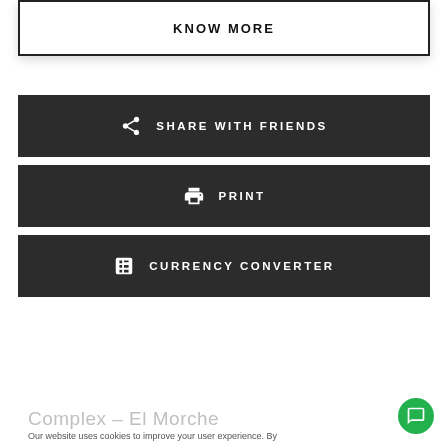[Figure (screenshot): KNOW MORE button card at the top]
SHARE WITH FRIENDS
PRINT
CURRENCY CONVERTER
Complex – El Morche
Our website uses cookies to improve your user experience. By